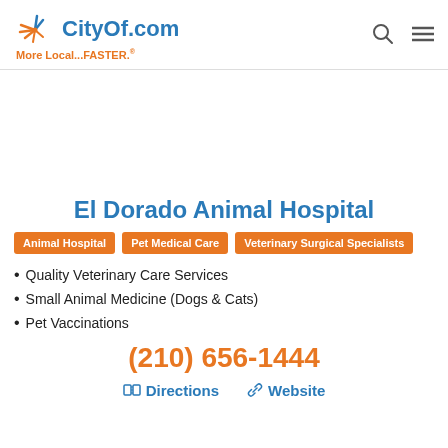[Figure (logo): CityOf.com logo with orange starburst icon and tagline 'More Local...FASTER.']
El Dorado Animal Hospital
Animal Hospital | Pet Medical Care | Veterinary Surgical Specialists
Quality Veterinary Care Services
Small Animal Medicine (Dogs & Cats)
Pet Vaccinations
(210) 656-1444
Directions  Website